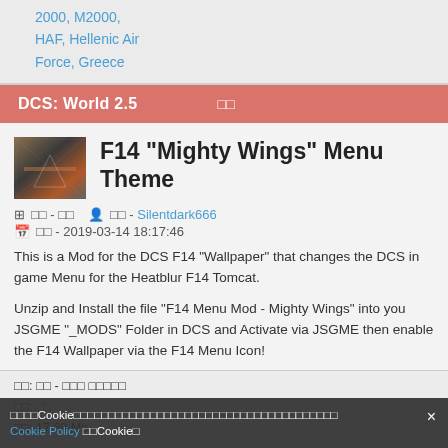2000, M2000, HAF, Hellenic Air Force, Greece
DCS: World 2.5  □□
F14 "Mighty Wings" Menu Theme
□□ - □□  □ □□ - Silentdark666
□□ - 2019-03-14 18:17:46
This is a Mod for the DCS F14 "Wallpaper" that changes the DCS in game Menu for the Heatblur F14 Tomcat.
Unzip and Install the file "F14 Menu Mod - Mighty Wings" into you JSGME "_MODS" Folder in DCS and Activate via JSGME then enable the F14 Wallpaper via the F14 Menu Icon!
□□: □□ - □□□ □□□□□
□□: □□
□□: 17.69 Mb
□□□□Cookie□□□□□□□□□□□□□□□□□□□□□□□□□□□□□□□□□□□□□ Cookie□□□□Cookie□